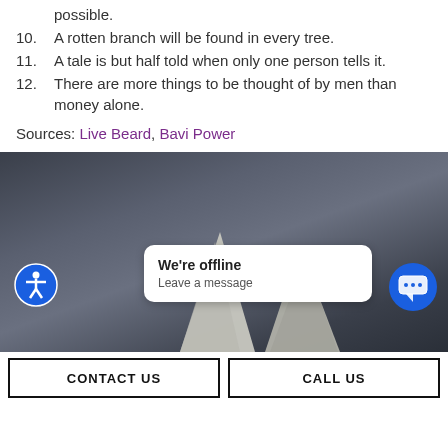possible.
10. A rotten branch will be found in every tree.
11. A tale is but half told when only one person tells it.
12. There are more things to be thought of by men than money alone.
Sources: Live Beard, Bavi Power
[Figure (photo): Dark stormy sky background with large animal horns (possibly bull or buffalo) at the bottom. A chat popup shows 'We're offline / Leave a message'. An accessibility icon button is at the bottom left and a chat icon button at the bottom right.]
CONTACT US
CALL US